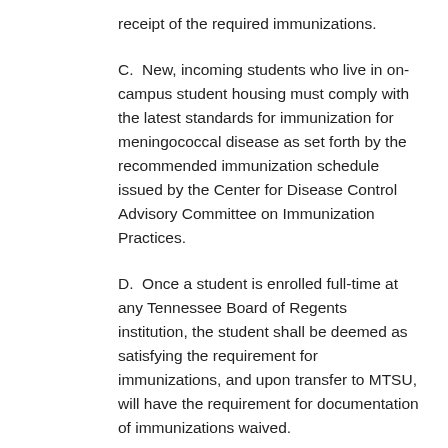receipt of the required immunizations.
C.  New, incoming students who live in on-campus student housing must comply with the latest standards for immunization for meningococcal disease as set forth by the recommended immunization schedule issued by the Center for Disease Control Advisory Committee on Immunization Practices.
D.  Once a student is enrolled full-time at any Tennessee Board of Regents institution, the student shall be deemed as satisfying the requirement for immunizations, and upon transfer to MTSU, will have the requirement for documentation of immunizations waived.